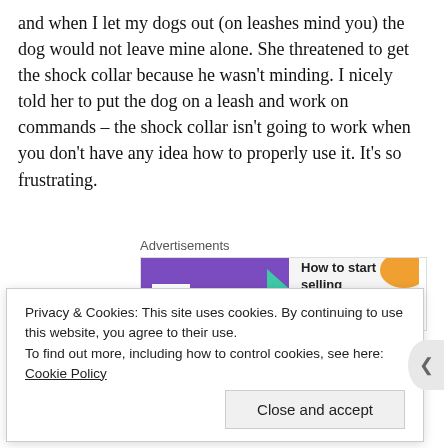and when I let my dogs out (on leashes mind you) the dog would not leave mine alone. She threatened to get the shock collar because he wasn't minding. I nicely told her to put the dog on a leash and work on commands – the shock collar isn't going to work when you don't have any idea how to properly use it. It's so frustrating.
[Figure (other): WooCommerce advertisement banner: purple left panel with WooCommerce logo and green arrow, right panel with text 'How to start selling subscriptions online' and orange decorative blob. Labeled 'Advertisements' above.]
They also just let the dog outside by himself to go potty. No leash. No nothing. He wanders by the creek and we have all sorts of wildlife that could harm them, including alligators (last at...
Privacy & Cookies: This site uses cookies. By continuing to use this website, you agree to their use.
To find out more, including how to control cookies, see here: Cookie Policy
Close and accept